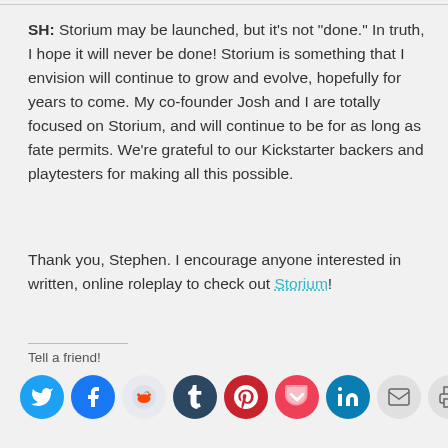SH: Storium may be launched, but it’s not “done.” In truth, I hope it will never be done! Storium is something that I envision will continue to grow and evolve, hopefully for years to come. My co-founder Josh and I are totally focused on Storium, and will continue to be for as long as fate permits. We’re grateful to our Kickstarter backers and playtesters for making all this possible.
Thank you, Stephen. I encourage anyone interested in written, online roleplay to check out Storium!
Tell a friend!
[Figure (infographic): Row of social sharing icon circles: Twitter (blue), Facebook (blue), Reddit (light gray), Tumblr (dark navy), Pinterest (red), Pocket (red-pink), LinkedIn (teal-blue), Email (gray), Print (gray)]